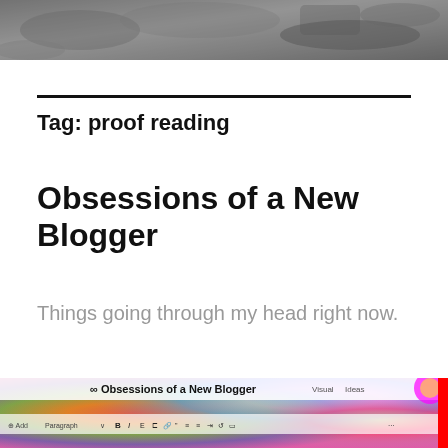[Figure (photo): Grayscale landscape photo at the top of the page]
Tag: proof reading
Obsessions of a New Blogger
Things going through my head right now.
[Figure (screenshot): Screenshot of a blog editor interface for 'Obsessions of a New Blogger' showing a colorful rainbow-hued editing interface with toolbar buttons including Bold, Italic, and other formatting options]